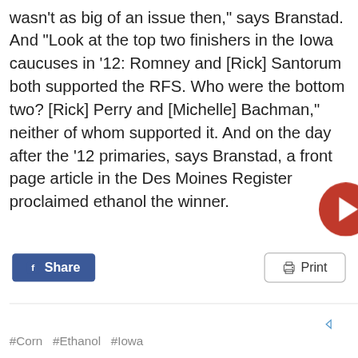wasn’t as big of an issue then,” says Branstad. And “Look at the top two finishers in the Iowa caucuses in ’12: Romney and [Rick] Santorum both supported the RFS. Who were the bottom two? [Rick] Perry and [Michelle] Bachman,” neither of whom supported it. And on the day after the ’12 primaries, says Branstad, a front page article in the Des Moines Register proclaimed ethanol the winner.
f Share
🖨 Print
#Corn  #Ethanol  #Iowa